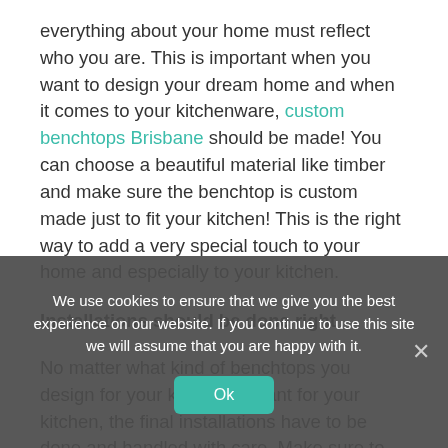everything about your home must reflect who you are. This is important when you want to design your dream home and when it comes to your kitchenware, custom benchtops Brisbane should be made! You can choose a beautiful material like timber and make sure the benchtop is custom made just to fit your kitchen! This is the right way to add a very special touch to your home and especially to your kitchen.
Installations should be done right
No matter what kind of benchtops you design for your kitchen or want for your kitchen, the final installations have to be done and handled with care. Make sure to speak to a professional company and get their help in installing the benchtop for you. Ensure so that it happens in a proper way.
We use cookies to ensure that we give you the best experience on our website. If you continue to use this site we will assume that you are happy with it.